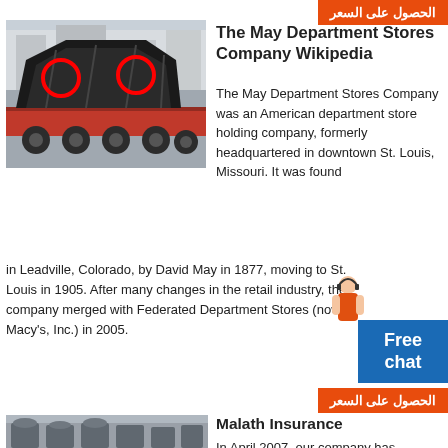[Figure (photo): Large industrial machinery on a red flatbed truck, with red circles highlighting parts]
The May Department Stores Company Wikipedia
The May Department Stores Company was an American department store holding company, formerly headquartered in downtown St. Louis, Missouri. It was founded in Leadville, Colorado, by David May in 1877, moving to St. Louis in 1905. After many changes in the retail industry, the company merged with Federated Department Stores (now Macy's, Inc.) in 2005.
[Figure (other): Orange button with Arabic text: الحصول على السعر]
[Figure (other): Blue Free chat button]
[Figure (other): Orange button with Arabic text: الحصول على السعر]
[Figure (photo): Industrial machines/grinders in a factory setting]
Malath Insurance
In April 2007, our company has established itself as a leading provider of insurance products and services, fulfilling the needs of the Saudi local market through the concept of ideal insurance and complete professionalism. Malath is the second licensed insurance company in .
[Figure (other): Orange button with Arabic text: الحصول على السعر]
[Figure (photo): Outdoor scene with sky and machinery]
MEDMAC
Welcome to Medmac's website where you